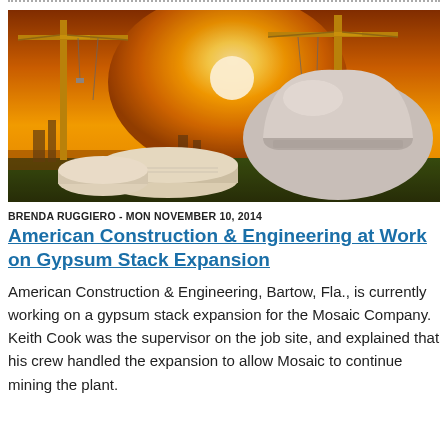[Figure (photo): Construction site photo showing two large yellow tower cranes against a bright orange sunset sky, with a white hard hat and rolled blueprints in the foreground.]
BRENDA RUGGIERO - MON NOVEMBER 10, 2014
American Construction & Engineering at Work on Gypsum Stack Expansion
American Construction & Engineering, Bartow, Fla., is currently working on a gypsum stack expansion for the Mosaic Company. Keith Cook was the supervisor on the job site, and explained that his crew handled the expansion to allow Mosaic to continue mining the plant.